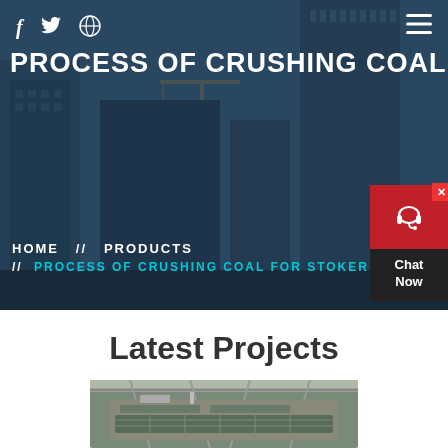f  🐦  ⊕  ≡
PROCESS OF CRUSHING COAL F
HOME // PRODUCTS // PROCESS OF CRUSHING COAL FOR STOKER CO
[Figure (screenshot): Chat Now widget with headset icon on dark background with red close button]
Latest Projects
[Figure (photo): Industrial machinery/crusher equipment photo at bottom of page]